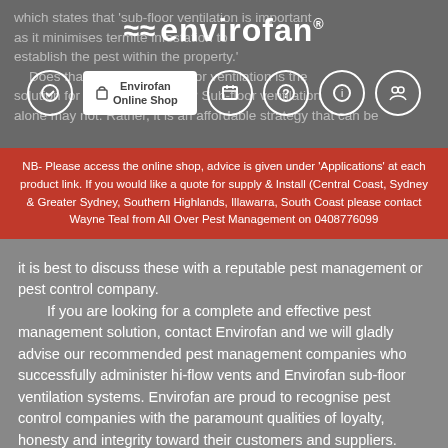Envirofan
which states that 'sub-floor ventilation is important as it minimises termite infestation to establish the pest within the property.' Does that mean that sub-floor ventilation is the solution for termite infestation? Sub-floor ventilation alone may not. Rather, it is an affordable strategy that can be
NB- Please access the online shop, advice is given under 'Applications' at each product link. If you would like a quote for supply & Install (Central Coast, Sydney & Greater Sydney, Southern Highlands, Illawarra, South Coast please contact Wayne Teal from All Over Pest Management on 0408776099
it is best to discuss these with a reputable pest management or pest control company. If you are looking for a complete and effective pest management solution, contact Envirofan and we will gladly advise our recommended pest management companies who successfully administer hi-flow vents and Envirofan sub-floor ventilation systems. Envirofan are proud to recognise pest control companies with the paramount qualities of loyalty, honesty and integrity toward their customers and suppliers. Unsure if sub-floor ventilation is the solution for you? Or if you simply require more information about our products and services, Envirofan are happy to assist, call us today!